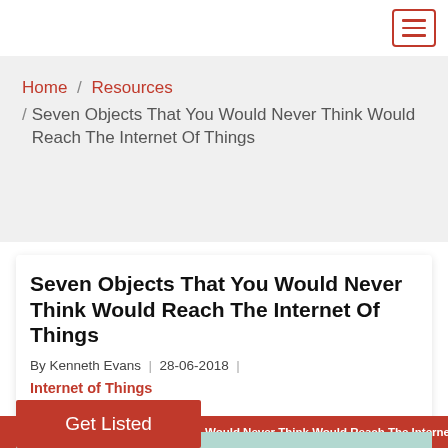[Figure (other): Hamburger menu icon button with red border and three red lines]
Home / Resources / Seven Objects That You Would Never Think Would Reach The Internet Of Things
Seven Objects That You Would Never Think Would Reach The Internet Of Things
By Kenneth Evans | 28-06-2018 |
Internet of Things
Get Listed
Would Never Think Would Reach The Internet Of Things